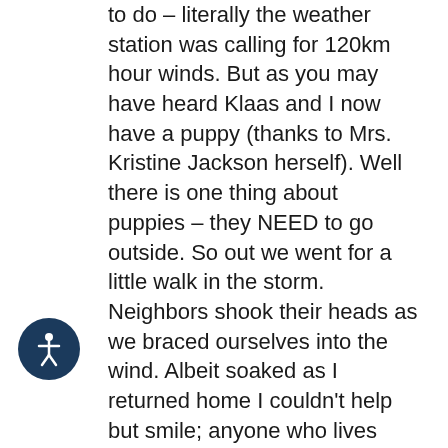to do – literally the weather station was calling for 120km hour winds. But as you may have heard Klaas and I now have a puppy (thanks to Mrs. Kristine Jackson herself). Well there is one thing about puppies – they NEED to go outside. So out we went for a little walk in the storm. Neighbors shook their heads as we braced ourselves into the wind. Albeit soaked as I returned home I couldn't help but smile; anyone who lives near the ocean or follows the surf knows that storms usually equal surf and for this storm that was definitely the case.
There is so much to do by the Ocean – but without the help of locals we'd be lost in the sea of opportunity. Thanks to Dustin of